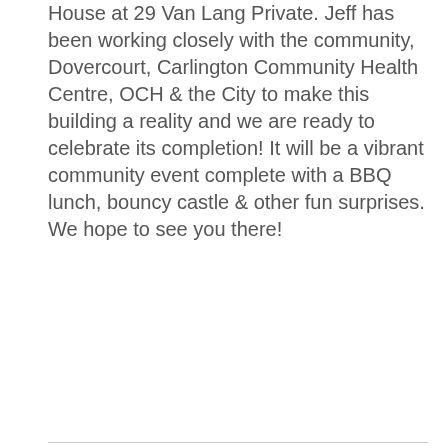House at 29 Van Lang Private. Jeff has been working closely with the community, Dovercourt, Carlington Community Health Centre, OCH & the City to make this building a reality and we are ready to celebrate its completion! It will be a vibrant community event complete with a BBQ lunch, bouncy castle & other fun surprises. We hope to see you there!
Read More
Quarterly ward forum April 30
tagged:
It's time for our quarterly ward forum. This time, it's being held on April 30, from 2-5, at the Hilson Avenue Public School - 407 Hilson Avenue.
Our forums offer updates from the community groups on what they've been working on, an update from me about